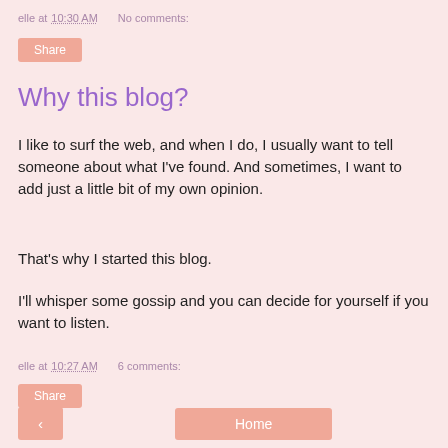elle at 10:30 AM   No comments:
Share
Why this blog?
I like to surf the web, and when I do, I usually want to tell someone about what I've found. And sometimes, I want to add just a little bit of my own opinion.
That's why I started this blog.
I'll whisper some gossip and you can decide for yourself if you want to listen.
elle at 10:27 AM   6 comments:
Share
< Home